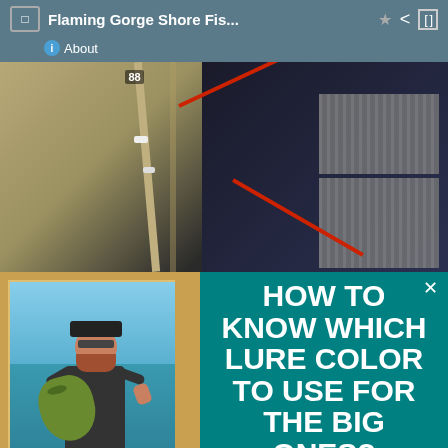Flaming Gorge Shore Fis...   About
[Figure (screenshot): Aerial/satellite map view showing a road, marina with boats, and a red line route near Flaming Gorge reservoir]
[Figure (infographic): Fishing advertisement showing a man holding a large bass fish on the left with a teal background panel on the right displaying text 'HOW TO KNOW WHICH LURE COLOR TO USE FOR THE BIG ONES?' and a red 'See It Here!' button]